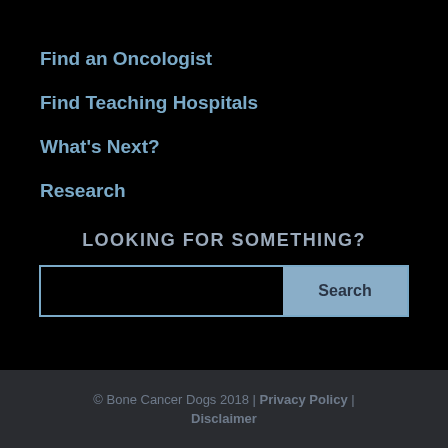Find an Oncologist
Find Teaching Hospitals
What's Next?
Research
LOOKING FOR SOMETHING?
[Figure (screenshot): Search bar with text input field and Search button]
© Bone Cancer Dogs 2018 | Privacy Policy | Disclaimer